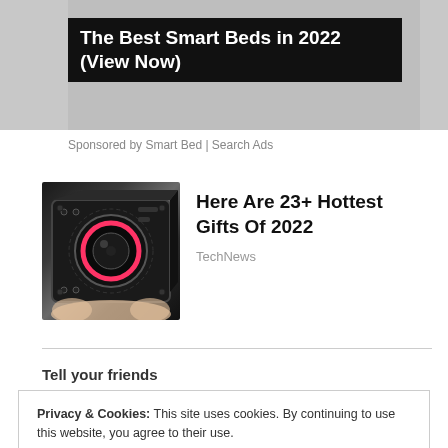[Figure (screenshot): Gray advertisement banner area at the top of the page showing a partially visible ad]
The Best Smart Beds in 2022 (View Now)
Sponsored by Smart Bed | Search Ads
[Figure (photo): Small black cube-shaped mini spy camera being held between fingers, with a circular lens visible on the front face]
Here Are 23+ Hottest Gifts Of 2022
TechNews
Tell your friends
Privacy & Cookies: This site uses cookies. By continuing to use this website, you agree to their use.
To find out more, including how to control cookies, see here:
Cookie Policy
Close and accept